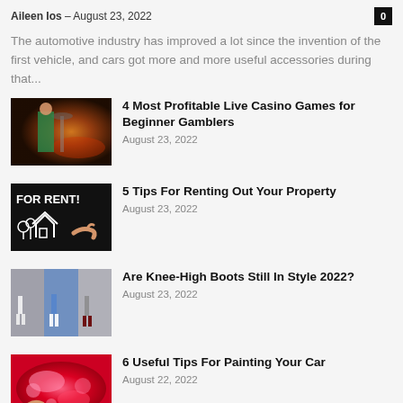Aileen Ios – August 23, 2022
The automotive industry has improved a lot since the invention of the first vehicle, and cars got more and more useful accessories during that...
[Figure (photo): Casino scene with a woman in a green dress]
4 Most Profitable Live Casino Games for Beginner Gamblers
August 23, 2022
[Figure (photo): Chalkboard with FOR RENT! text and a drawn house]
5 Tips For Renting Out Your Property
August 23, 2022
[Figure (photo): Collage of women wearing knee-high boots]
Are Knee-High Boots Still In Style 2022?
August 23, 2022
[Figure (photo): Hand polishing a red car with pink foam]
6 Useful Tips For Painting Your Car
August 22, 2022